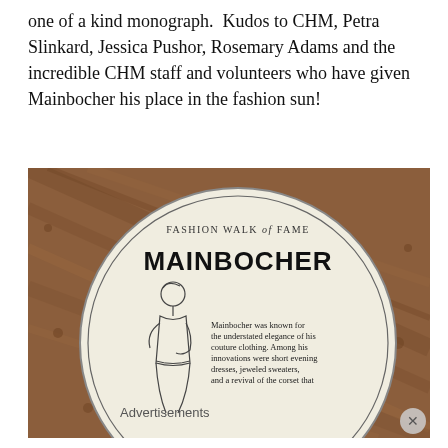one of a kind monograph.  Kudos to CHM, Petra Slinkard, Jessica Pushor, Rosemary Adams and the incredible CHM staff and volunteers who have given Mainbocher his place in the fashion sun!
[Figure (photo): A photograph of a circular plaque on a wooden surface. The plaque reads 'FASHION WALK of FAME' at the top, then 'MAINBOCHER' in large bold letters, with a line illustration of a fashionable woman beside text reading: 'Mainbocher was known for the understated elegance of his couture clothing. Among his innovations were short evening dresses, jeweled sweaters, and a revival of the corset that']
Advertisements